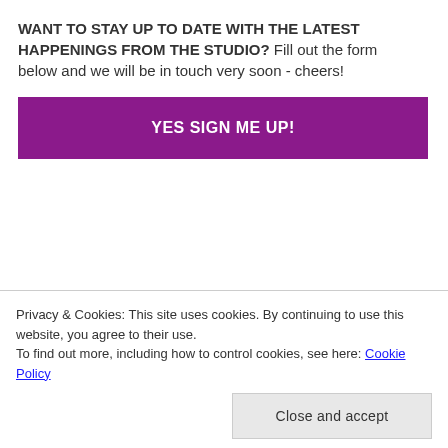WANT TO STAY UP TO DATE WITH THE LATEST HAPPENINGS FROM THE STUDIO? Fill out the form below and we will be in touch very soon - cheers!
× (close button)
YES SIGN ME UP!
Shoes/Jewelry: Carissa's own

Fur:  SAP's own find from an antique store in Jackson, TN
Privacy & Cookies: This site uses cookies. By continuing to use this website, you agree to their use.
To find out more, including how to control cookies, see here: Cookie Policy
Close and accept